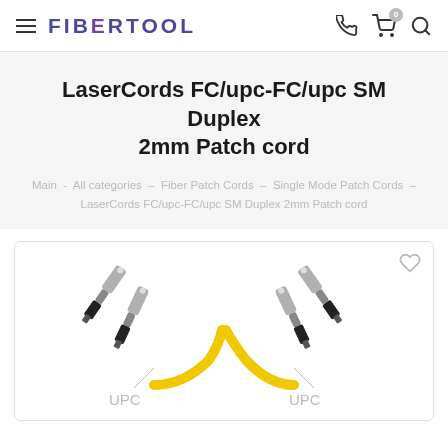FIBERTOOL — navigation header with hamburger menu, phone icon, cart (0), search icon
LaserCords FC/upc-FC/upc SM Duplex 2mm Patch cord
Main - All categories - Fiber Patch Cords - Single Mode Patch Cords - LaserCords FC/upc-FC/upc SM Duplex 2mm Patch cord
[Figure (photo): FC/UPC duplex fiber optic patch cord connectors — two pairs of FC connectors shown on yellow duplex cable, labeled UPC on left and UPC on right, with a wishlist heart icon in top-right corner of the product card.]